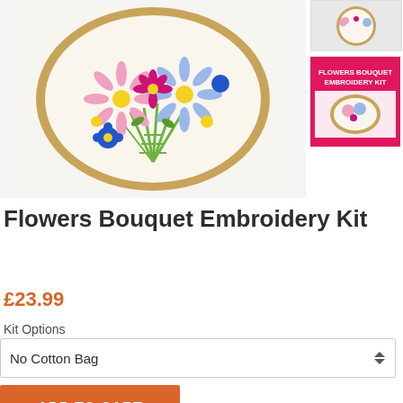[Figure (photo): Embroidery hoop with flowers bouquet design on cream fabric with gold hoop frame]
[Figure (photo): Small thumbnail of embroidery hoop on white background]
[Figure (photo): Thumbnail of Flowers Bouquet Embroidery Kit packaging with pink background]
Flowers Bouquet Embroidery Kit
£23.99
Kit Options
No Cotton Bag
ADD TO CART